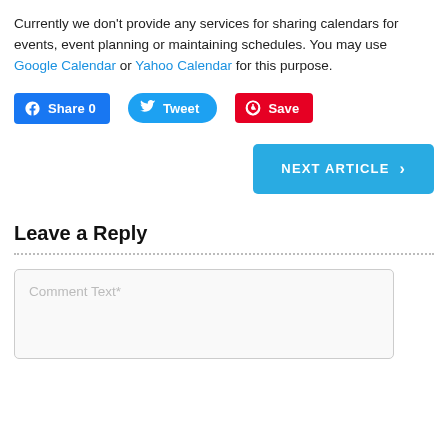Currently we don't provide any services for sharing calendars for events, event planning or maintaining schedules. You may use Google Calendar or Yahoo Calendar for this purpose.
[Figure (other): Social sharing buttons: Facebook Share 0, Tweet, Pinterest Save]
[Figure (other): NEXT ARTICLE button with right arrow]
Leave a Reply
Comment Text*